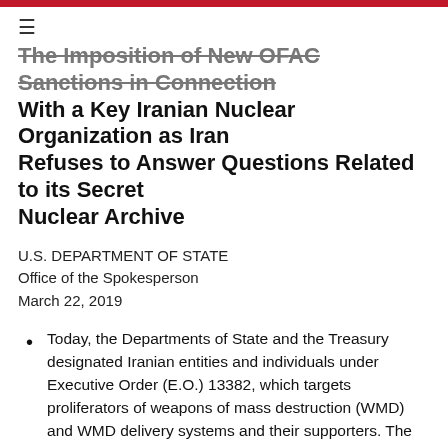≡
The Imposition of New OFAC Sanctions in Connection With a Key Iranian Nuclear Organization as Iran Refuses to Answer Questions Related to its Secret Nuclear Archive
U.S. DEPARTMENT OF STATE
Office of the Spokesperson
March 22, 2019
Today, the Departments of State and the Treasury designated Iranian entities and individuals under Executive Order (E.O.) 13382, which targets proliferators of weapons of mass destruction (WMD) and WMD delivery systems and their supporters. The individuals and entities designated today are all linked to Iran's Organization of Defensive Innovation and Research, also known by its Persian acronym